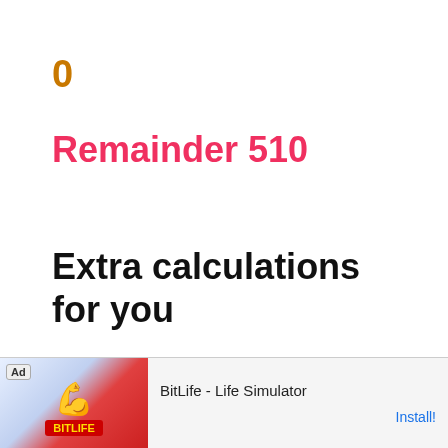0
Remainder 510
Extra calculations for you
Now you've learned the long division approach to 510 divided by 975, here are a few other ways you might do the calculation:
[Figure (other): Advertisement banner for BitLife - Life Simulator app showing muscle emoji graphic, red background logo, and Install! call to action]